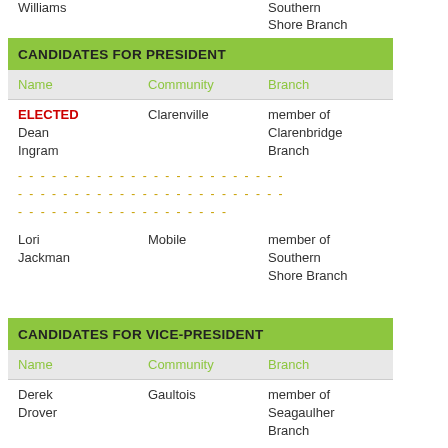Williams / Southern Shore Branch
| Name | Community | Branch |
| --- | --- | --- |
| ELECTED Dean Ingram | Clarenville | member of Clarenbridge Branch |
| — (dashes) — |  |  |
| Lori Jackman | Mobile | member of Southern Shore Branch |
| Name | Community | Branch |
| --- | --- | --- |
| Derek Drover | Gaultois | member of Seagaulher Branch |